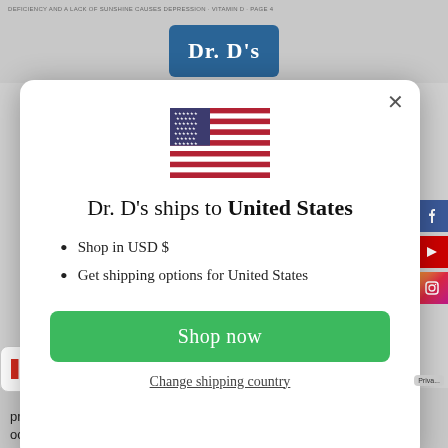[Figure (screenshot): Screenshot of a Dr. D's website popup modal showing shipping country selection to United States, with US flag, bullet points for USD shopping and shipping options, a green Shop now button, and a Change shipping country link. Background shows Dr. D's logo and page content.]
Dr. D's ships to United States
Shop in USD $
Get shipping options for United States
Shop now
Change shipping country
CAD
pression. Furthermore, depressive sympto occurred more frequently in people with low levels of vitamin D,